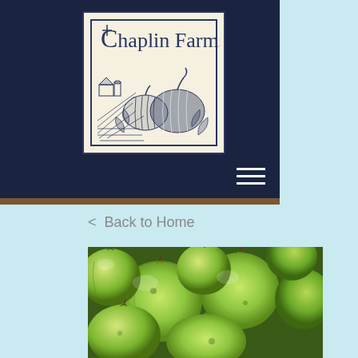[Figure (logo): Chaplin Farms logo: navy blue text 'Chaplin Farms' above an engraved-style illustration of pumpkins and farm fields, inside a bordered box on cream background]
[Figure (other): Hamburger menu icon (three white horizontal lines) in the dark navy header area]
< Back to Home
[Figure (photo): Close-up photograph of many green apples piled together]